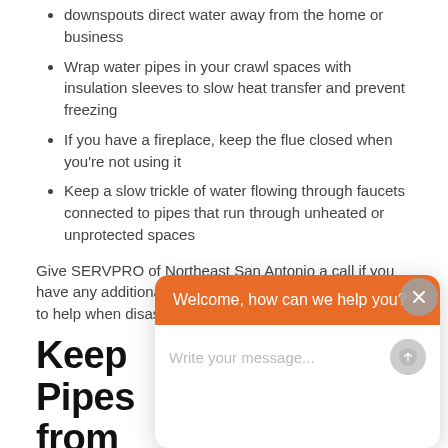downspouts direct water away from the home or business
Wrap water pipes in your crawl spaces with insulation sleeves to slow heat transfer and prevent freezing
If you have a fireplace, keep the flue closed when you're not using it
Keep a slow trickle of water flowing through faucets connected to pipes that run through unheated or unprotected spaces
Give SERVPRO of Northeast San Antonio a call if you have any additional questions.  Our team is always here to help when disaster strikes!
Keep Pipes from Fr... An...
11/26...
Temperatures are dropping, and a freeze may occur over the
[Figure (screenshot): Chat popup overlay with orange header saying 'Welcome, how can we help you?' and a message input field with placeholder 'Write your message...' and a close button (X) in the top right corner.]